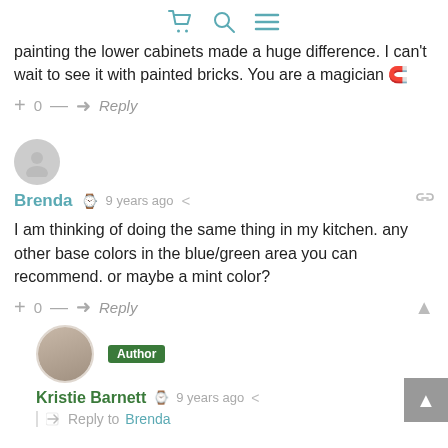[Figure (screenshot): Navigation icons: shopping cart, search, and hamburger menu in teal color]
painting the lower cabinets made a huge difference. I can't wait to see it with painted bricks. You are a magician 🔮
+ 0 — ➜ Reply
[Figure (photo): Generic user avatar circle (gray)]
Brenda  🕐 9 years ago  < (share)
I am thinking of doing the same thing in my kitchen. any other base colors in the blue/green area you can recommend. or maybe a mint color?
+ 0 — ➜ Reply
[Figure (photo): Author avatar photo of Kristie Barnett with Author badge]
Kristie Barnett  🕐 9 years ago  < (share)
Reply to Brenda